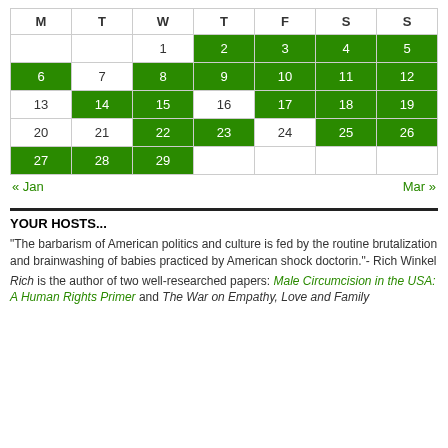| M | T | W | T | F | S | S |
| --- | --- | --- | --- | --- | --- | --- |
|  |  | 1 | 2 | 3 | 4 | 5 |
| 6 | 7 | 8 | 9 | 10 | 11 | 12 |
| 13 | 14 | 15 | 16 | 17 | 18 | 19 |
| 20 | 21 | 22 | 23 | 24 | 25 | 26 |
| 27 | 28 | 29 |  |  |  |  |
« Jan    Mar »
YOUR HOSTS...
"The barbarism of American politics and culture is fed by the routine brutalization and brainwashing of babies practiced by American shock doctorin."- Rich Winkel
Rich is the author of two well-researched papers: Male Circumcision in the USA: A Human Rights Primer and The War on Empathy, Love and Family